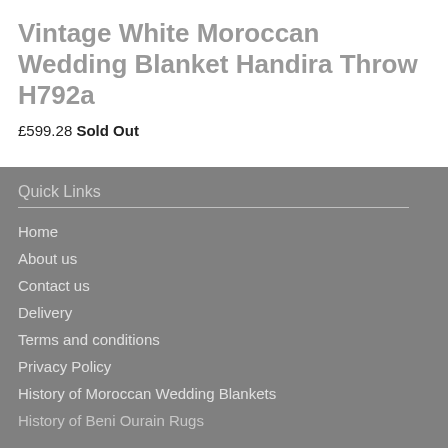Vintage White Moroccan Wedding Blanket Handira Throw H792a
£599.28 Sold Out
Quick Links
Home
About us
Contact us
Delivery
Terms and conditions
Privacy Policy
History of Moroccan Wedding Blankets
History of Beni Ourain Rugs